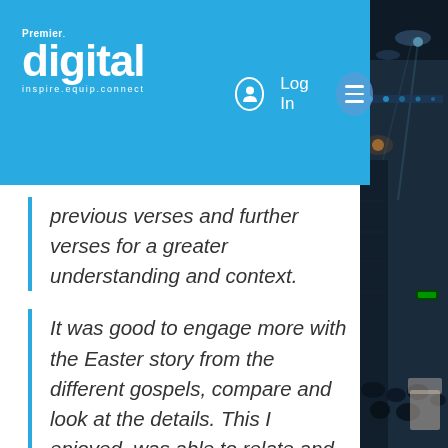Premier Digital — inspire.equip.connect — Log In
…into …with …reading previous verses and further verses for a greater understanding and context.
It was good to engage more with the Easter story from the different gospels, compare and look at the details. This I enjoyed, was able to relate and get deeper in my thinking also my relationship with God.
[Figure (photo): Dark concert/event venue interior with stage lighting and audience silhouettes, viewed from side]